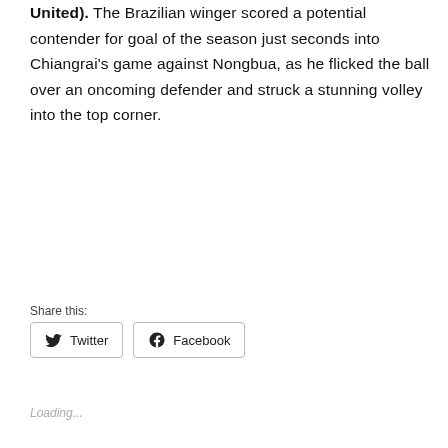United). The Brazilian winger scored a potential contender for goal of the season just seconds into Chiangrai's game against Nongbua, as he flicked the ball over an oncoming defender and struck a stunning volley into the top corner.
Share this:
Twitter  Facebook
Loading...